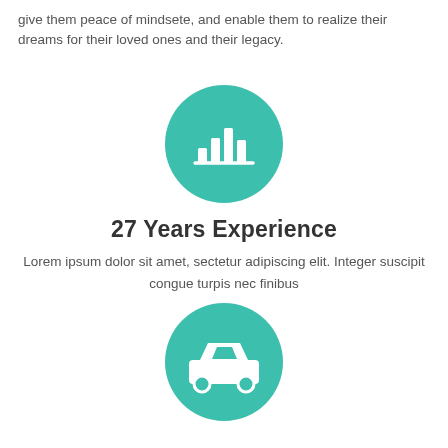give them peace of mindsete, and enable them to realize their dreams for their loved ones and their legacy.
[Figure (illustration): Teal circle icon with a bar chart / analytics symbol in white]
27 Years Experience
Lorem ipsum dolor sit amet, sectetur adipiscing elit. Integer suscipit congue turpis nec finibus
[Figure (illustration): Teal circle icon with a car / automobile symbol in white]